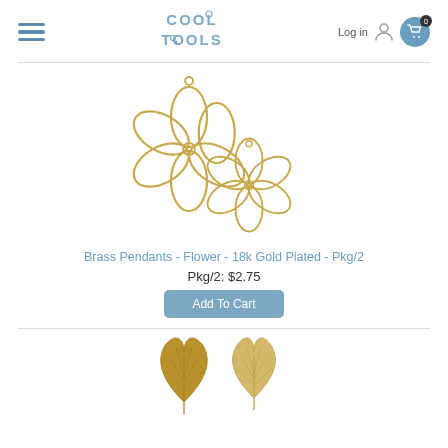Cool Tools - navigation header with hamburger menu, logo, login, and cart
[Figure (photo): Two gold-plated brass flower-shaped pendants (open petal wire design) shown overlapping, 18k gold plated]
Brass Pendants - Flower - 18k Gold Plated - Pkg/2
Pkg/2: $2.75
Add To Cart
[Figure (photo): Two gold ginkgo leaf shaped pendants with textured surface detail]